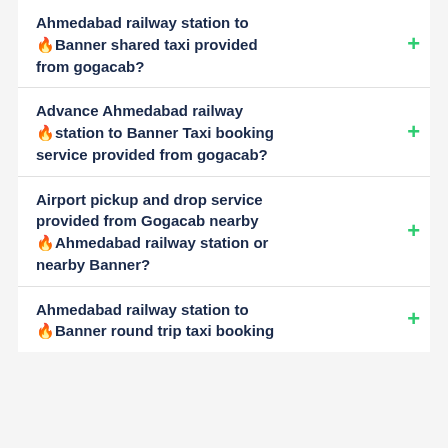Ahmedabad railway station to 🔥Banner shared taxi provided from gogacab?
Advance Ahmedabad railway station to Banner Taxi booking service provided from gogacab?
Airport pickup and drop service provided from Gogacab nearby Ahmedabad railway station or nearby Banner?
Ahmedabad railway station to 🔥Banner round trip taxi booking